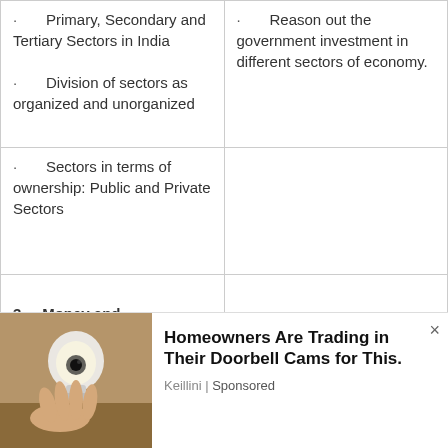| · Primary, Secondary and Tertiary Sectors in India

· Division of sectors as organized and unorganized | · Reason out the government investment in different sectors of economy. |
| · Sectors in terms of ownership: Public and Private Sectors |  |
| 3.    Money and Credit: |  |
[Figure (photo): Advertisement banner showing a hand holding a smart bulb (light bulb camera). Text: 'Homeowners Are Trading in Their Doorbell Cams for This.' Sponsored by Keillini.]